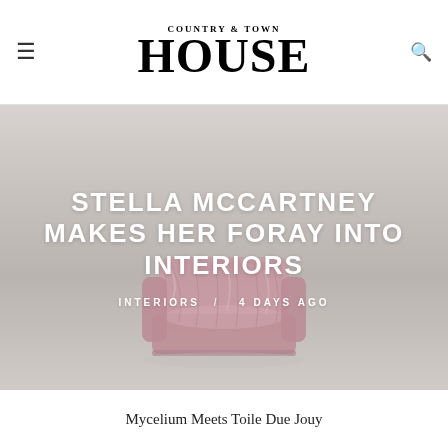COUNTRY & TOWN HOUSE
[Figure (photo): Hero image of a pink crushed velvet armchair on a light grey background, with overlaid white text reading 'STELLA MCCARTNEY MAKES HER FORAY INTO INTERIORS' and subtext 'INTERIORS / 4 DAYS AGO']
STELLA MCCARTNEY MAKES HER FORAY INTO INTERIORS
INTERIORS / 4 DAYS AGO
Mycelium Meets Toile Due Jouy